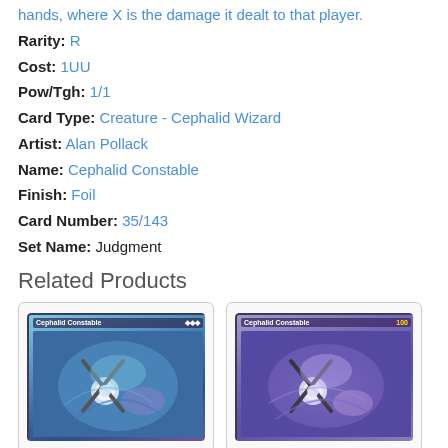hands, where X is the damage it dealt to that player.
Rarity: R
Cost: 1UU
Pow/Tgh: 1/1
Card Type: Creature - Cephalid Wizard
Artist: Alan Pollack
Name: Cephalid Constable
Finish: Foil
Card Number: 35/143
Set Name: Judgment
Related Products
[Figure (photo): Card image of Cephalid Constable (normal)]
[Figure (photo): Card image of Cephalid Constable (foil/variant)]